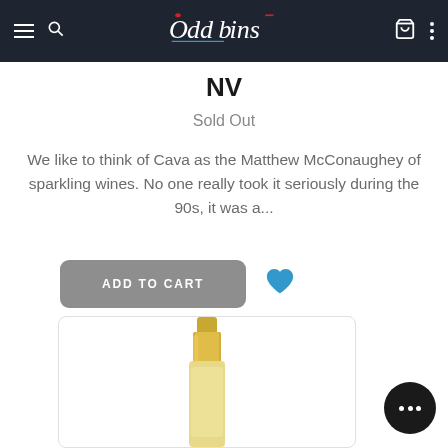Oddbins
NV
Sold Out
We like to think of Cava as the Matthew McConaughey of sparkling wines. No one really took it seriously during the 90s, it was a...
[Figure (screenshot): Add to Cart button (greyed out) with a blue heart/wishlist icon to the right]
[Figure (photo): Partial view of a champagne/sparkling wine bottle neck with gold foil, shown inside a rounded-rectangle product card]